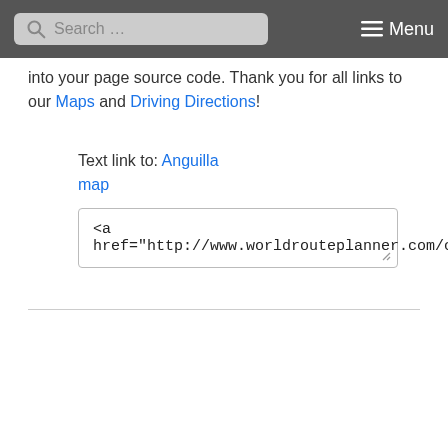Search ... Menu
into your page source code. Thank you for all links to our Maps and Driving Directions!
Text link to: Anguilla map
<a href="http://www.worldrouteplanner.com/cen...